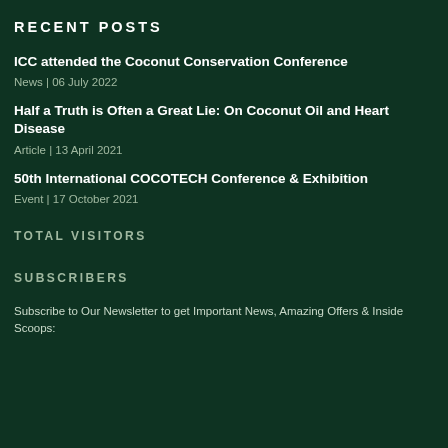RECENT POSTS
ICC attended the Coconut Conservation Conference
News | 06 July 2022
Half a Truth is Often a Great Lie: On Coconut Oil and Heart Disease
Article | 13 April 2021
50th International COCOTECH Conference & Exhibition
Event | 17 October 2021
TOTAL VISITORS
SUBSCRIBERS
Subscribe to Our Newsletter to get Important News, Amazing Offers & Inside Scoops: